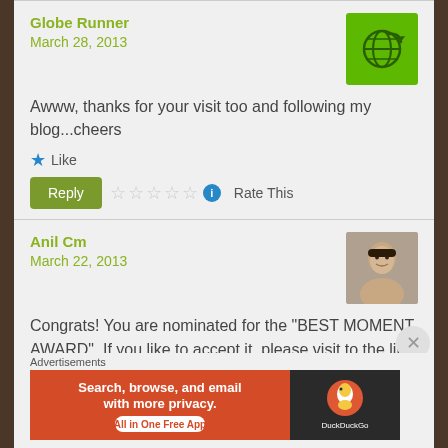Globe Runner
March 28, 2013
Awww, thanks for your visit too and following my blog...cheers
Like
Reply  Rate This
Anil Cm
March 22, 2013
Congrats! You are nominated for the "BEST MOMENT AWARD". If you like to accept it, please visit to the link :
Advertisements
[Figure (screenshot): DuckDuckGo ad banner: orange section reads 'Search, browse, and email with more privacy. All in One Free App', dark section shows DuckDuckGo duck logo and name]